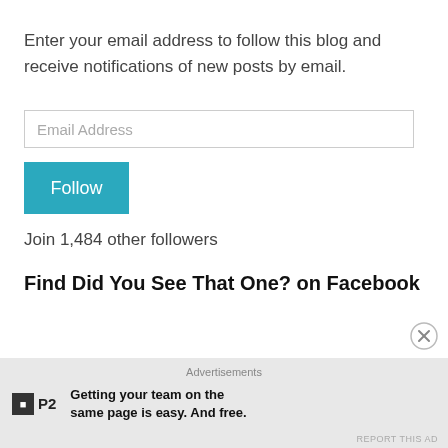Enter your email address to follow this blog and receive notifications of new posts by email.
[Figure (other): Email address input field with placeholder text 'Email Address']
[Figure (other): Teal 'Follow' button]
Join 1,484 other followers
Find Did You See That One? on Facebook
[Figure (other): Close/dismiss circle button with X]
Advertisements
[Figure (other): P2 advertisement logo and tagline: Getting your team on the same page is easy. And free.]